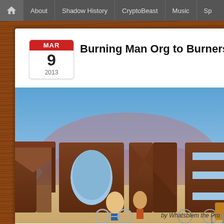Home | About | Shadow History | CryptoBeast | Music | Sp...
Burning Man Org to Burners: W
MAR 9 2013
[Figure (photo): Large outdoor art installation with enormous metal letters spelling MONEY (partially visible as MON) in a desert landscape with mountains in the background. People with bicycles stand in front of the letters. Blue sky above.]
by Whatsblem the Pro